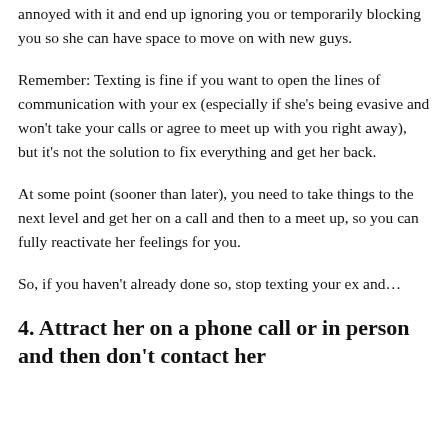annoyed with it and end up ignoring you or temporarily blocking you so she can have space to move on with new guys.
Remember: Texting is fine if you want to open the lines of communication with your ex (especially if she's being evasive and won't take your calls or agree to meet up with you right away), but it's not the solution to fix everything and get her back.
At some point (sooner than later), you need to take things to the next level and get her on a call and then to a meet up, so you can fully reactivate her feelings for you.
So, if you haven't already done so, stop texting your ex and…
4. Attract her on a phone call or in person and then don't contact her